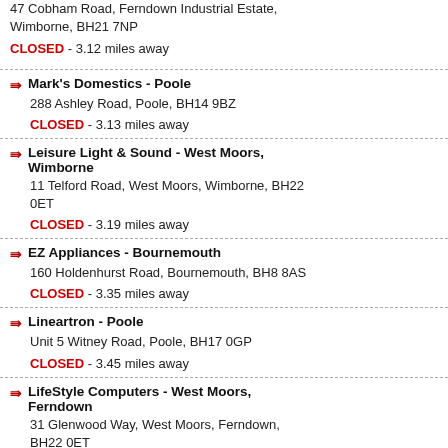47 Cobham Road, Ferndown Industrial Estate, Wimborne, BH21 7NP
CLOSED - 3.12 miles away
Mark's Domestics - Poole
288 Ashley Road, Poole, BH14 9BZ
CLOSED - 3.13 miles away
Leisure Light & Sound - West Moors, Wimborne
11 Telford Road, West Moors, Wimborne, BH22 0ET
CLOSED - 3.19 miles away
EZ Appliances - Bournemouth
160 Holdenhurst Road, Bournemouth, BH8 8AS
CLOSED - 3.35 miles away
Lineartron - Poole
Unit 5 Witney Road, Poole, BH17 0GP
CLOSED - 3.45 miles away
LifeStyle Computers - West Moors, Ferndown
31 Glenwood Way, West Moors, Ferndown, BH22 0ET
CLOSED - 4.02 miles away
George Fry Home Electrical - Bournemouth
799 Christchurch Road, Bournemouth, BH7